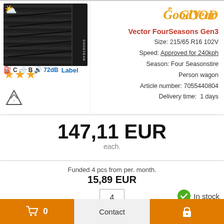[Figure (photo): Goodyear Vector FourSeasons Gen3 tyre image with weather icon (partly cloudy) top-left and 3 gold star rating below]
C  B  72dB
Label
[Figure (illustration): Mountain/snowflake certification symbol]
[Figure (logo): Goodyear brand logo in gold italic script]
Vector FourSeasons Gen3
Size: 215/65 R16 102V
Speed: Approved for 240kph
Season: Four Seasonstire
Person wagon
Article number: 7055440804
Delivery time: 1 days
147,11 EUR
each.
Funded 4 pcs from per. month.
15,89 EUR
4
In stock
Buy
[Figure (photo): Second tyre product preview - Continental tyre partially visible at bottom]
[Figure (logo): Continental brand logo partially visible]
nContact Ultra
0  Contact